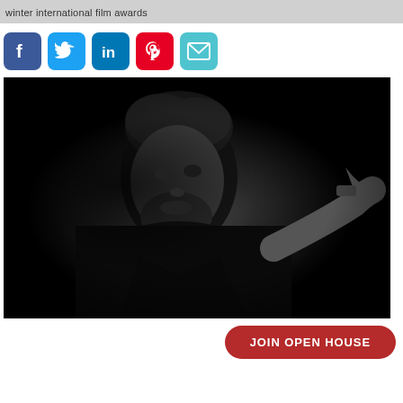winter international film awards
[Figure (infographic): Row of five social media share icons: Facebook (blue), Twitter (blue), LinkedIn (blue), Pinterest (red), Email (teal), each in a rounded square button]
[Figure (photo): Black and white dramatic portrait photo of a bearded man in dark clothing, lit from the side against a black background, looking thoughtfully to the side with his arm raised]
JOIN OPEN HOUSE